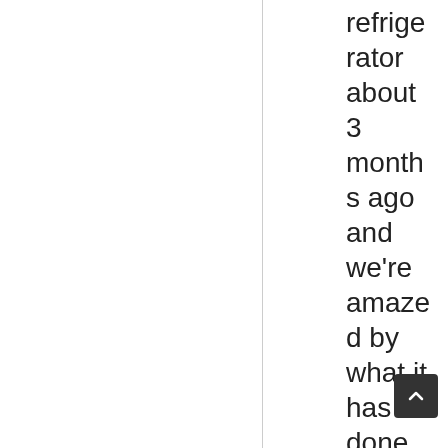this refrigerator about 3 months ago and we're amazed by what it has done for us so far. Not